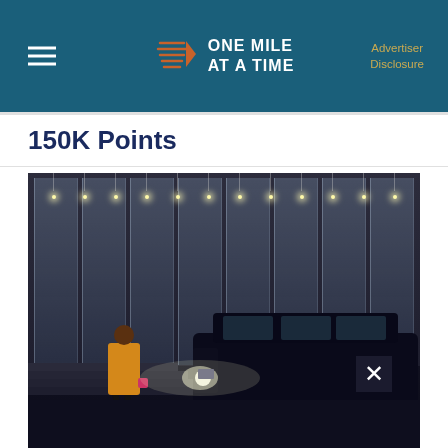ONE MILE AT A TIME | Advertiser Disclosure
150K Points
[Figure (photo): Night scene of a person in a yellow coat walking past a large dark SUV (Chevrolet Suburban) in front of a modern glass building with hanging lights. The scene is dimly lit with the SUV's headlights on.]